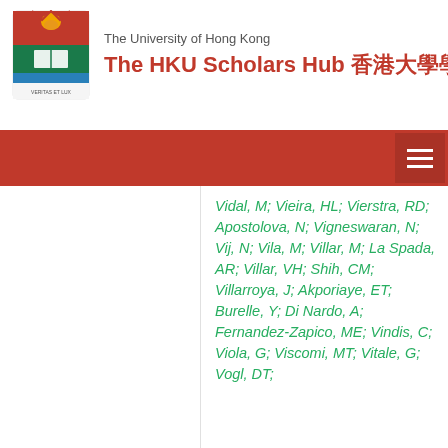The University of Hong Kong — The HKU Scholars Hub 香港大學學術庫
Vidal, M; Vieira, HL; Vierstra, RD; Apostolova, N; Vigneswaran, N; Vij, N; Vila, M; Villar, M; La Spada, AR; Villar, VH; Shih, CM; Villarroya, J; Akporiaye, ET; Burelle, Y; Di Nardo, A; Fernandez-Zapico, ME; Vindis, C; Viola, G; Viscomi, MT; Vitale, G; Vogl, DT;